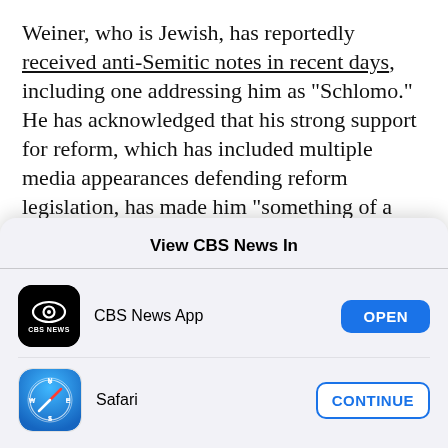Weiner, who is Jewish, has reportedly received anti-Semitic notes in recent days, including one addressing him as "Schlomo." He has acknowledged that his strong support for reform, which has included multiple media appearances defending reform legislation, has made him "something of a lightning rod."
House Majority Leader Steny Hoyer said Wednesday
View CBS News In
[Figure (screenshot): iOS app picker modal with CBS News App (OPEN button) and Safari (CONTINUE button)]